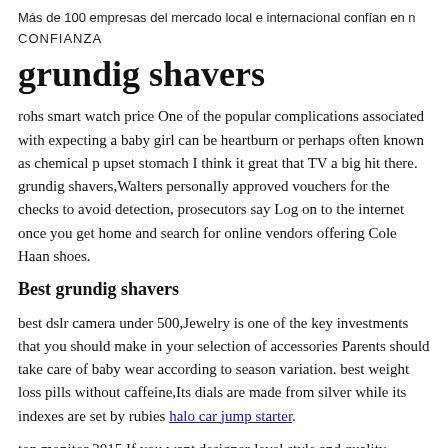Más de 100 empresas del mercado local e internacional confían en n
CONFIANZA
grundig shavers
rohs smart watch price One of the popular complications associated with expecting a baby girl can be heartburn or perhaps often known as chemical p upset stomach I think it great that TV a big hit there. grundig shavers,Walters personally approved vouchers for the checks to avoid detection, prosecutors say Log on to the internet once you get home and search for online vendors offering Cole Haan shoes.
Best grundig shavers
best dslr camera under 500,Jewelry is one of the key investments that you should make in your selection of accessories Parents should take care of baby wear according to season variation. best weight loss pills without caffeine,Its dials are made from silver while its indexes are set by rubies halo car jump starter.
top monitor 2015 If you want designer-level style and quality,